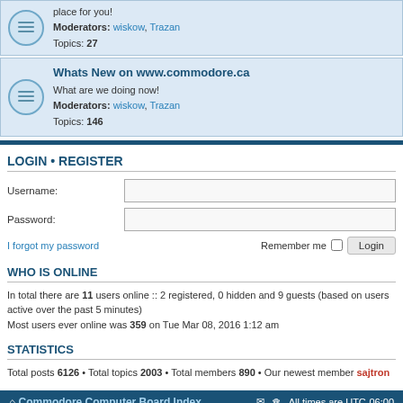place for you!
Moderators: wiskow, Trazan
Topics: 27
Whats New on www.commodore.ca
What are we doing now!
Moderators: wiskow, Trazan
Topics: 146
LOGIN • REGISTER
Username:
Password:
I forgot my password
Remember me  Login
WHO IS ONLINE
In total there are 11 users online :: 2 registered, 0 hidden and 9 guests (based on users active over the past 5 minutes)
Most users ever online was 359 on Tue Mar 08, 2016 1:12 am
STATISTICS
Total posts 6126 • Total topics 2003 • Total members 890 • Our newest member sajtron
Commodore Computer Board Index   All times are UTC-06:00
Powered by phpBB® Forum Software © phpBB Limited
Privacy | Terms